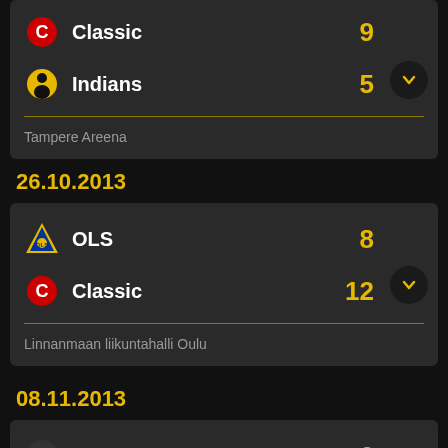Classic 9
Indians 5
Tampere Areena
26.10.2013
OLS 8
Classic 12
Linnanmaan liikuntahalli Oulu
08.11.2013
Nokian KrP 6